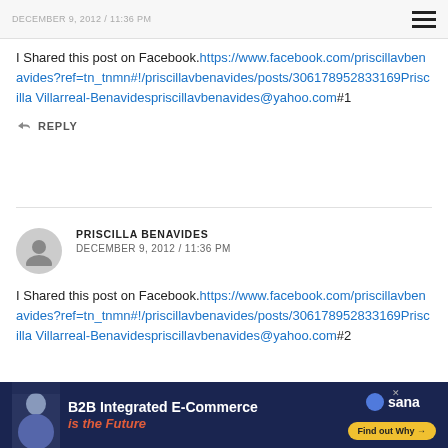DECEMBER 9, 2012 / 11:36 PM
I Shared this post on Facebook. https://www.facebook.com/priscillavbenavides?ref=tn_tnmn#!/priscillavbenavides/posts/306178952833169Priscilla Villarreal-Benavidespriscillavbenavides@yahoo.com#1
REPLY
PRISCILLA BENAVIDES
DECEMBER 9, 2012 / 11:36 PM
I Shared this post on Facebook. https://www.facebook.com/priscillavbenavides?ref=tn_tnmn#!/priscillavbenavides/posts/306178952833169Priscilla Villarreal-Benavidespriscillavbenavides@yahoo.com#2
[Figure (infographic): Advertisement banner for B2B Integrated E-Commerce by Sana with a man photo and Find out Why CTA button]